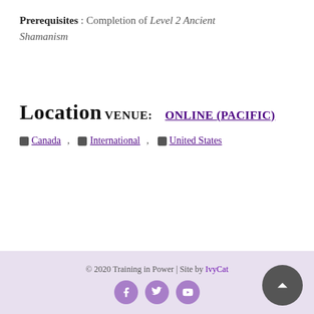Prerequisites : Completion of Level 2 Ancient Shamanism
Location
Venue:   Online (Pacific)
Canada ,  International ,  United States
© 2020 Training in Power | Site by IvyCat